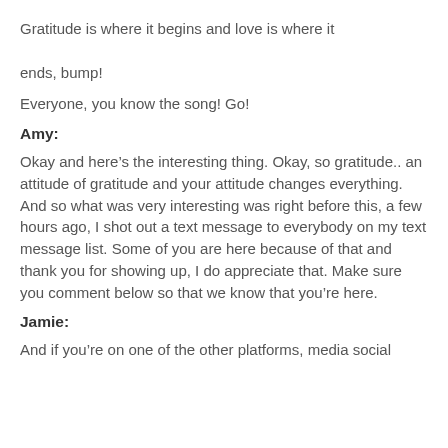Gratitude is where it begins and love is where it ends, bump!
Everyone, you know the song! Go!
Amy:
Okay and here’s the interesting thing. Okay, so gratitude.. an attitude of gratitude and your attitude changes everything. And so what was very interesting was right before this, a few hours ago, I shot out a text message to everybody on my text message list. Some of you are here because of that and thank you for showing up, I do appreciate that. Make sure you comment below so that we know that you’re here.
Jamie:
And if you’re on one of the other platforms, media social